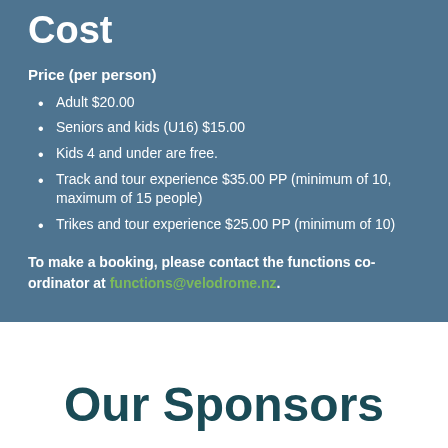Cost
Price (per person)
Adult $20.00
Seniors and kids (U16) $15.00
Kids 4 and under are free.
Track and tour experience $35.00 PP (minimum of 10, maximum of 15 people)
Trikes and tour experience $25.00 PP (minimum of 10)
To make a booking, please contact the functions co-ordinator at functions@velodrome.nz.
Our Sponsors